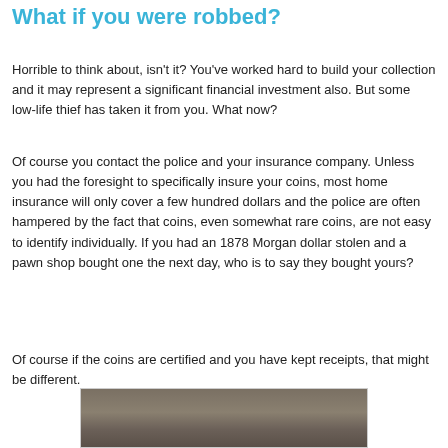What if you were robbed?
Horrible to think about, isn't it? You've worked hard to build your collection and it may represent a significant financial investment also. But some low-life thief has taken it from you. What now?
Of course you contact the police and your insurance company. Unless you had the foresight to specifically insure your coins, most home insurance will only cover a few hundred dollars and the police are often hampered by the fact that coins, even somewhat rare coins, are not easy to identify individually. If you had an 1878 Morgan dollar stolen and a pawn shop bought one the next day, who is to say they bought yours?
Of course if the coins are certified and you have kept receipts, that might be different.
[Figure (photo): Partial view of a coin photograph at the bottom of the page]